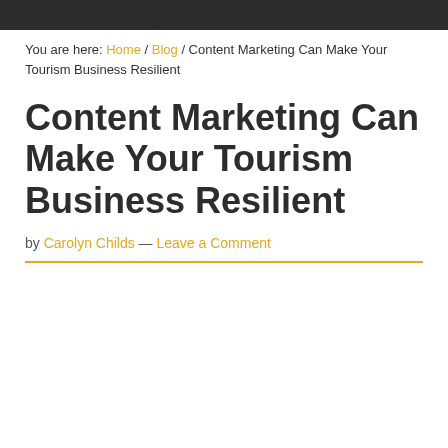You are here: Home / Blog / Content Marketing Can Make Your Tourism Business Resilient
Content Marketing Can Make Your Tourism Business Resilient
by Carolyn Childs — Leave a Comment